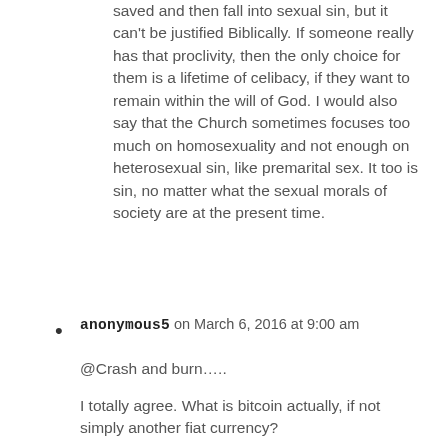saved and then fall into sexual sin, but it can't be justified Biblically. If someone really has that proclivity, then the only choice for them is a lifetime of celibacy, if they want to remain within the will of God. I would also say that the Church sometimes focuses too much on homosexuality and not enough on heterosexual sin, like premarital sex. It too is sin, no matter what the sexual morals of society are at the present time.
anonymous5 on March 6, 2016 at 9:00 am
@Crash and burn…..
I totally agree. What is bitcoin actually, if not simply another fiat currency?